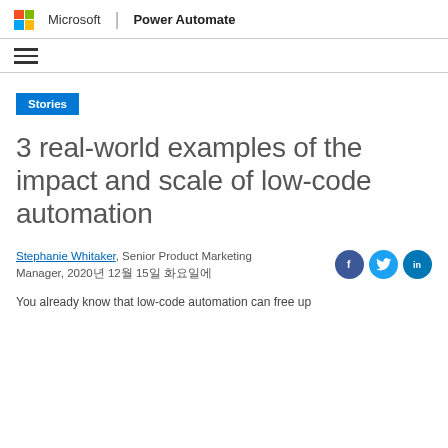Microsoft | Power Automate
[Figure (logo): Microsoft logo (four colored squares in grid) with text 'Microsoft | Power Automate']
Stories
3 real-world examples of the impact and scale of low-code automation
Stephanie Whitaker, Senior Product Marketing Manager, 2020년 12월 15일 화요일에
[Figure (infographic): Social sharing icons: Facebook (blue circle with f), Twitter (blue circle with bird), LinkedIn (blue circle with in)]
You already know that low-code automation can free up